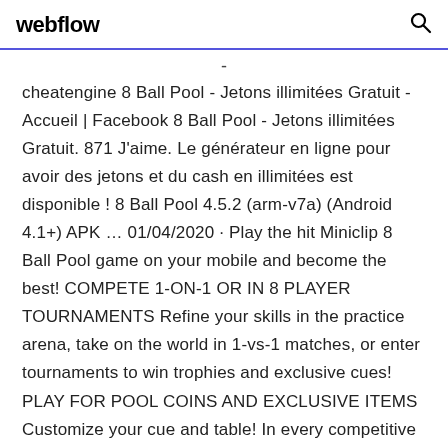webflow
- cheatengine 8 Ball Pool - Jetons illimitées Gratuit - Accueil | Facebook 8 Ball Pool - Jetons illimitées Gratuit. 871 J'aime. Le générateur en ligne pour avoir des jetons et du cash en illimitées est disponible ! 8 Ball Pool 4.5.2 (arm-v7a) (Android 4.1+) APK ... 01/04/2020 · Play the hit Miniclip 8 Ball Pool game on your mobile and become the best! COMPETE 1-ON-1 OR IN 8 PLAYER TOURNAMENTS Refine your skills in the practice arena, take on the world in 1-vs-1 matches, or enter tournaments to win trophies and exclusive cues! PLAY FOR POOL COINS AND EXCLUSIVE ITEMS Customize your cue and table! In every competitive 1-vs-1 match you